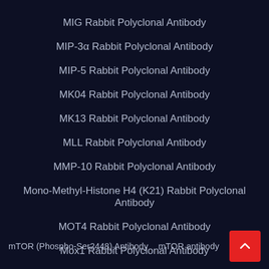MIG Rabbit Polyclonal Antibody
MIP-3α Rabbit Polyclonal Antibody
MIP-5 Rabbit Polyclonal Antibody
MK04 Rabbit Polyclonal Antibody
MK13 Rabbit Polyclonal Antibody
MLL Rabbit Polyclonal Antibody
MMP-10 Rabbit Polyclonal Antibody
Mono-Methyl-Histone H4 (K21) Rabbit Polyclonal Antibody
MOT4 Rabbit Polyclonal Antibody
Mox1 Rabbit Polyclonal Antibody
MRP Rabbit Polyclonal Antibody
MSX1 Rabbit Polyclonal Antibody
mTOR (Phospho-Ser2448) Antibody
mTOR antibody